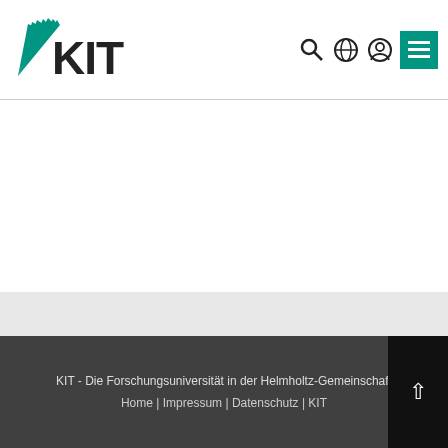[Figure (logo): KIT logo with green fan and bold KIT text, top-left of header]
[Figure (screenshot): Header navigation icons: search (magnifying glass), globe, user profile circle, and green menu hamburger button]
[Figure (logo): Powered by MediaWiki badge]
[Figure (logo): Powered by Semantic MediaWiki blue badge with orange globe icon]
Diese Seite wurde zuletzt am 13. Oktober 2009 um 12:33 Uhr bearbeitet.
KIT - Die Forschungsuniversität in der Helmholtz-Gemeinschaft
Home | Impressum | Datenschutz | KIT